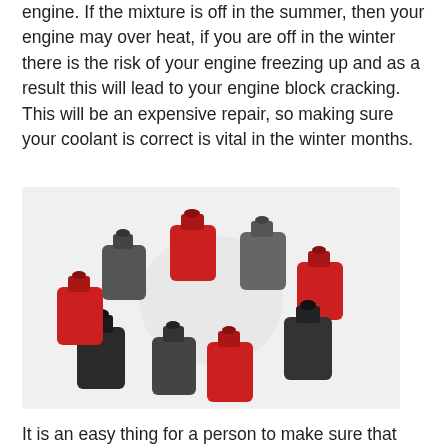engine. If the mixture is off in the summer, then your engine may over heat, if you are off in the winter there is the risk of your engine freezing up and as a result this will lead to your engine block cracking. This will be an expensive repair, so making sure your coolant is correct is vital in the winter months.
[Figure (photo): A circular arrangement of red and gray/dark automotive fluid bottles (coolant/oil containers) viewed from above on a white background.]
It is an easy thing for a person to make sure that they keep their car in proper running order. All they need to do is simply